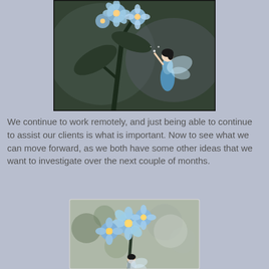[Figure (photo): Cross-stitch embroidery artwork showing a fairy with blue dragonfly wings wearing a blue dress, looking up at large blue forget-me-not flowers on dark stems against a grey-green background.]
We continue to work remotely, and just being able to continue to assist our clients is what is important. Now to see what we can move forward, as we both have some other ideas that we want to investigate over the next couple of months.
[Figure (photo): A printed reference image or pattern showing blue forget-me-not flowers with a small fairy figure below them, against a blurred green and grey bokeh background, slightly curved as if a printed sheet.]